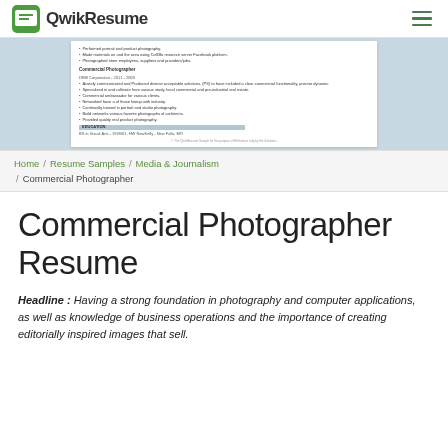QwikResume
[Figure (screenshot): Partial resume preview showing Commercial Photographer section with bullet points, Education section header, and watermark at bottom]
Home / Resume Samples / Media & Journalism / Commercial Photographer
Commercial Photographer Resume
Headline : Having a strong foundation in photography and computer applications, as well as knowledge of business operations and the importance of creating editorially inspired images that sell.